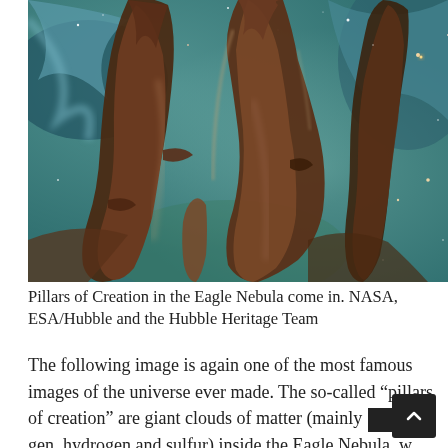[Figure (photo): Hubble Space Telescope image of the Pillars of Creation in the Eagle Nebula. Towering columns of dark reddish-brown gas and dust rise against a blue-green nebula background with scattered stars visible. The pillars are dramatically illuminated with warm brown and tan colors.]
Pillars of Creation in the Eagle Nebula come in. NASA, ESA/Hubble and the Hubble Heritage Team
The following image is again one of the most famous images of the universe ever made. The so-called “pillars of creation” are giant clouds of matter (mainly gen, hydrogen and sulfur) inside the Eagle Nebula, where new stars are forming today. The first version of this